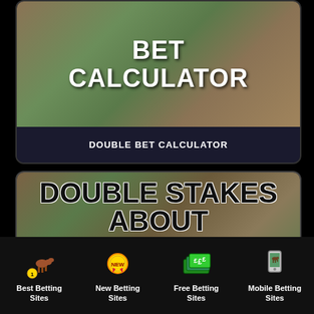[Figure (screenshot): Top card showing horse racing image background with bold white text 'BET CALCULATOR' and label 'DOUBLE BET CALCULATOR' at bottom]
[Figure (screenshot): Bottom card showing horse racing image background with bold black outlined text 'DOUBLE STAKES ABOUT BET CALCULATOR']
Best Betting Sites
New Betting Sites
Free Betting Sites
Mobile Betting Sites